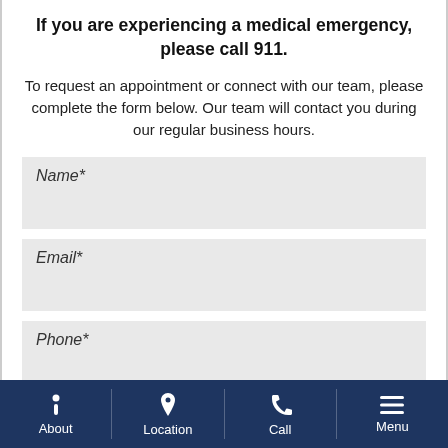If you are experiencing a medical emergency, please call 911.
To request an appointment or connect with our team, please complete the form below. Our team will contact you during our regular business hours.
Name*
Email*
Phone*
About | Location | Call | Menu